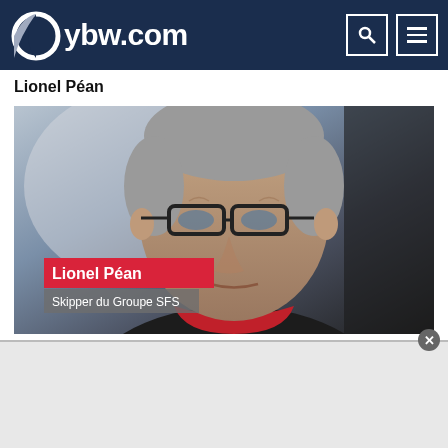ybw.com
Lionel Péan
[Figure (photo): Close-up photo of Lionel Péan, an older man with grey hair and glasses, wearing a dark jacket with red collar. Overlaid text reads 'Lionel Péan' on a red background and 'Skipper du Groupe SFS' on a grey background.]
Credit: You Tube
Win...t SFS Skipper IT...t